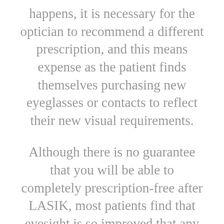happens, it is necessary for the optician to recommend a different prescription, and this means expense as the patient finds themselves purchasing new eyeglasses or contacts to reflect their new visual requirements.
Although there is no guarantee that you will be able to completely prescription-free after LASIK, most patients find that eyesight is so improved that any changes to their prescription are much less frequent. Eyeglasses and contacts are known for